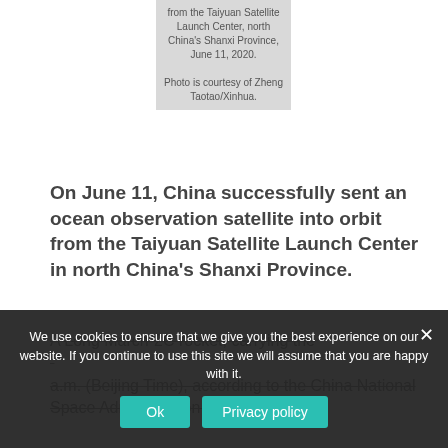from the Taiyuan Satellite Launch Center, north China's Shanxi Province, June 11, 2020. Photo is courtesy of Zheng Taotao/Xinhua.
On June 11, China successfully sent an ocean observation satellite into orbit from the Taiyuan Satellite Launch Center in north China's Shanxi Province.
A Long March-2C rocket, carrying the ... a.m. (Beijing Time), according to the China National Space Administration (CNSA).
We use cookies to ensure that we give you the best experience on our website. If you continue to use this site we will assume that you are happy with it.